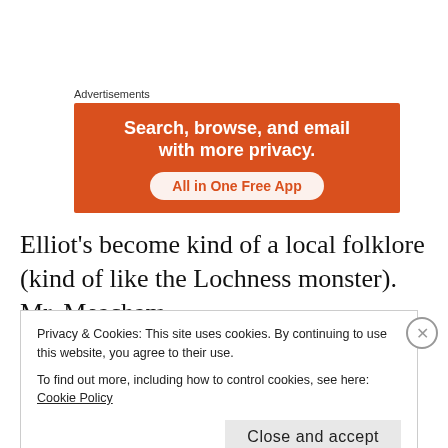Advertisements
[Figure (illustration): Orange advertisement banner reading 'Search, browse, and email with more privacy. All in One Free App']
Elliot's become kind of a local folklore (kind of like the Lochness monster). Mr. Meacham
Privacy & Cookies: This site uses cookies. By continuing to use this website, you agree to their use.
To find out more, including how to control cookies, see here: Cookie Policy
Close and accept